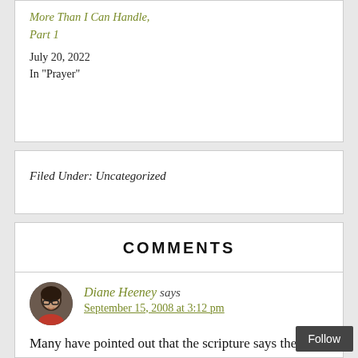More Than I Can Handle, Part 1
July 20, 2022
In "Prayer"
Filed Under: Uncategorized
COMMENTS
Diane Heeney says
September 15, 2008 at 3:12 pm
Many have pointed out that the scripture says the LOVE of money is the issue, not money